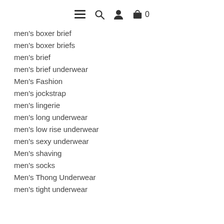☰ 🔍 👤 🛍 0
men's boxer brief
men's boxer briefs
men's brief
men's brief underwear
Men's Fashion
men's jockstrap
men's lingerie
men's long underwear
men's low rise underwear
men's sexy underwear
Men's shaving
men's socks
Men's Thong Underwear
men's tight underwear